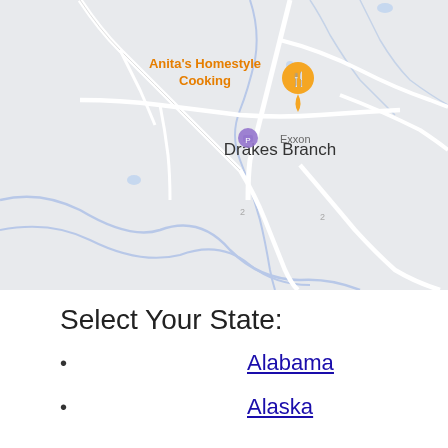[Figure (map): Google Maps view of Drakes Branch, Virginia area showing road layout including W Point Stevens Rd and Drakes Main St. An Anita's Homestyle Cooking restaurant marker (orange) is visible in the upper left. The map has a light gray/blue color scheme.]
Select Your State:
Alabama
Alaska